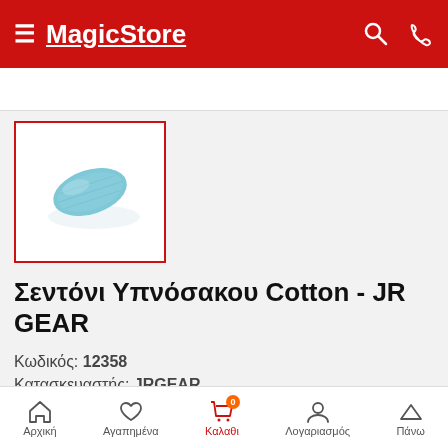MagicStore
[Figure (photo): Blue cotton sleeping bag liner / sheet product thumbnail image]
Σεντόνι Υπνόσακου Cotton - JR GEAR
Κωδικός: 12358
Κατασκευαστής: JRGEAR
Αρχική  Αγαπημένα  Καλαθι  Λογαριασμός  Πάνω